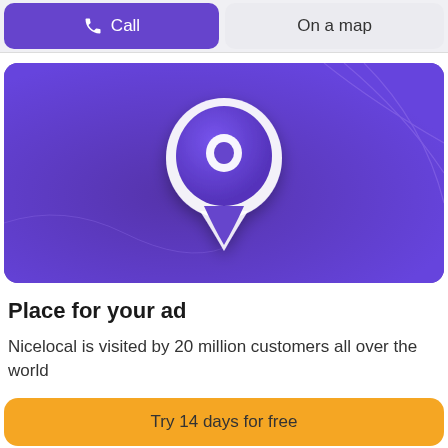[Figure (screenshot): Two UI buttons side by side: purple 'Call' button with phone icon on the left, and grey 'On a map' button on the right]
[Figure (illustration): Purple banner with a 3D white-outlined map pin / location marker icon centered on a purple gradient background with subtle line art]
Place for your ad
Nicelocal is visited by 20 million customers all over the world
Try 14 days for free